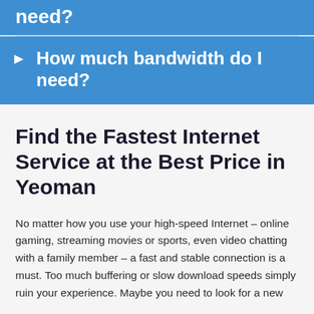need?
How much bandwidth do I need?
Find the Fastest Internet Service at the Best Price in Yeoman
No matter how you use your high-speed Internet – online gaming, streaming movies or sports, even video chatting with a family member – a fast and stable connection is a must. Too much buffering or slow download speeds simply ruin your experience. Maybe you need to look for a new